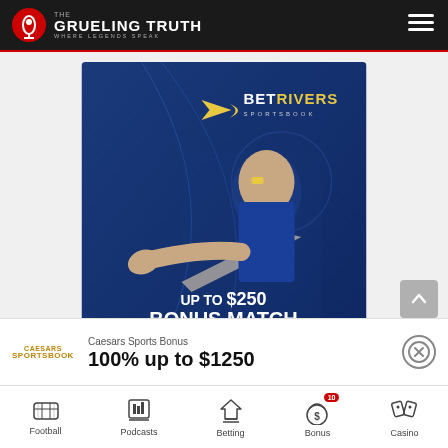The Grueling Truth - Where Legends Speak
[Figure (illustration): BetRivers Sportsbook advertisement showing a man in a blue sports jersey pointing at the viewer with face paint, text 'UP TO $250 BONUS MATCH ON YOUR FIRST DEPOSIT' and a yellow 'Redeem Bonus' button]
Caesars Sports Bonus
100% up to $1250
Football | Podcasts | Betting | Bonus (10) | Casino